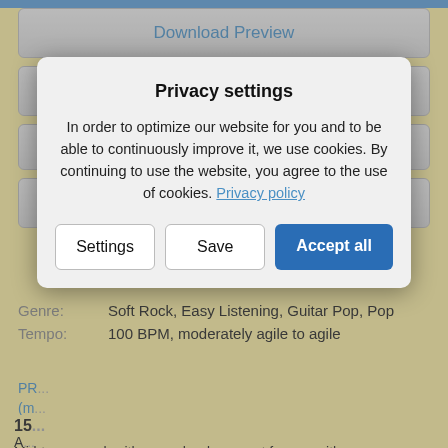[Figure (screenshot): Top blue bar at top of page]
Download Preview
Find related Tracks
☆
Login to Create a Playlist
Genre:  Soft Rock, Easy Listening, Guitar Pop, Pop
Tempo:  100 BPM, moderately agile to agile
PR... (m...
15
A... an...
Mid-tempo rock with a rough edge, great for use with
Privacy settings

In order to optimize our website for you and to be able to continuously improve it, we use cookies. By continuing to use the website, you agree to the use of cookies. Privacy policy

Settings  Save  Accept all